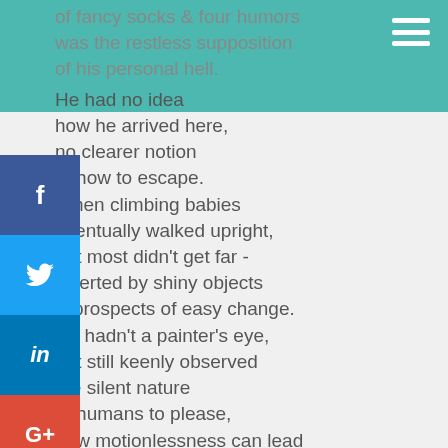of fancy socks & four humors
was the restless supposition
of his personal hell.
He had no idea
how he arrived here,
no clearer notion
of how to escape.
When climbing babies
eventually walked upright,
but most didn't get far -
diverted by shiny objects
& prospects of easy change.
He hadn't a painter's eye,
but still keenly observed
the silent nature
of humans to please,
how motionlessness can lead
to deeper understanding,
how the lack of sleep leaves
more time to ponder.
He visualizes